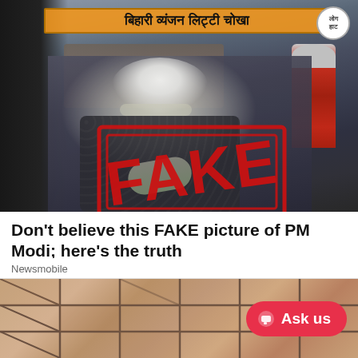[Figure (photo): Photo of PM Modi at a market stall with Hindi signage, overlaid with a large red FAKE stamp]
Don't believe this FAKE picture of PM Modi; here's the truth
Newsmobile
[Figure (photo): Tiled floor/wall background with a red 'Ask us' chat button overlay]